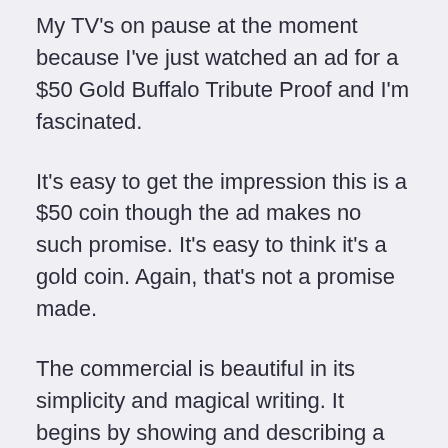My TV's on pause at the moment because I've just watched an ad for a $50 Gold Buffalo Tribute Proof and I'm fascinated.
It's easy to get the impression this is a $50 coin though the ad makes no such promise. It's easy to think it's a gold coin. Again, that's not a promise made.
The commercial is beautiful in its simplicity and magical writing. It begins by showing and describing a legitimate US government issued $50 gold coin